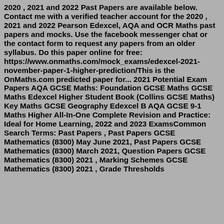2020 , 2021 and 2022 Past Papers are available below. Contact me with a verified teacher account for the 2020 , 2021 and 2022 Pearson Edexcel, AQA and OCR Maths past papers and mocks. Use the facebook messenger chat or the contact form to request any papers from an older syllabus. Do this paper online for free: https://www.onmaths.com/mock_exams/edexcel-2021-november-paper-1-higher-prediction/This is the OnMaths.com predicted paper for... 2021 Potential Exam Papers AQA GCSE Maths: Foundation GCSE Maths GCSE Maths Edexcel Higher Student Book (Collins GCSE Maths) Key Maths GCSE Geography Edexcel B AQA GCSE 9-1 Maths Higher All-In-One Complete Revision and Practice: Ideal for Home Learning, 2022 and 2023 ExamsCommon Search Terms: Past Papers , Past Papers GCSE Mathematics (8300) May June 2021, Past Papers GCSE Mathematics (8300) March 2021, Question Papers GCSE Mathematics (8300) 2021 , Marking Schemes GCSE Mathematics (8300) 2021 , Grade Thresholds